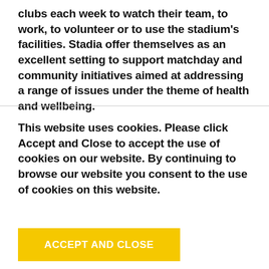clubs each week to watch their team, to work, to volunteer or to use the stadium's facilities. Stadia offer themselves as an excellent setting to support matchday and community initiatives aimed at addressing a range of issues under the theme of health and wellbeing.
This website uses cookies. Please click Accept and Close to accept the use of cookies on our website. By continuing to browse our website you consent to the use of cookies on this website.
ACCEPT AND CLOSE